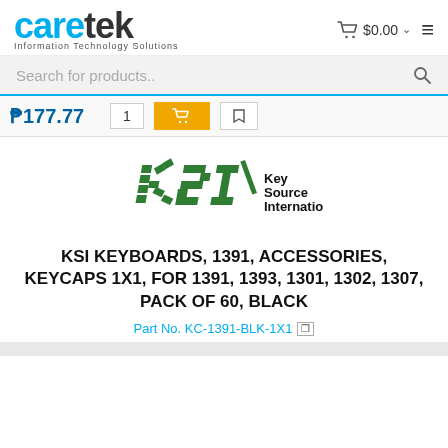caretek - Information Technology Solutions | Cart $0.00
Search for products..
₱177.77  1  [Add to Cart]  [Wishlist]
[Figure (logo): KSI Key Source International logo — green angled brick-pattern letters KSI with black text Key Source International]
KSI KEYBOARDS, 1391, ACCESSORIES, KEYCAPS 1X1, FOR 1391, 1393, 1301, 1302, 1307, PACK OF 60, BLACK
Part No. KC-1391-BLK-1X1